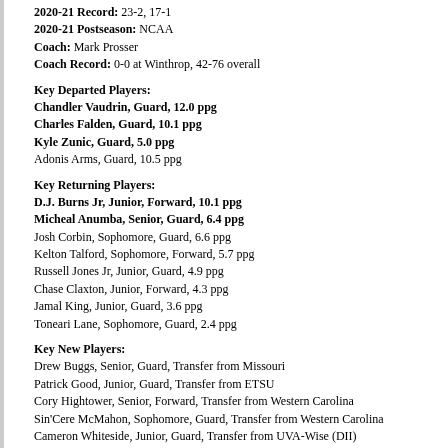2020-21 Record: 23-2, 17-1
2020-21 Postseason: NCAA
Coach: Mark Prosser
Coach Record: 0-0 at Winthrop, 42-76 overall
Key Departed Players:
Chandler Vaudrin, Guard, 12.0 ppg
Charles Falden, Guard, 10.1 ppg
Kyle Zunic, Guard, 5.0 ppg
Adonis Arms, Guard, 10.5 ppg
Key Returning Players:
D.J. Burns Jr, Junior, Forward, 10.1 ppg
Micheal Anumba, Senior, Guard, 6.4 ppg
Josh Corbin, Sophomore, Guard, 6.6 ppg
Kelton Talford, Sophomore, Forward, 5.7 ppg
Russell Jones Jr, Junior, Guard, 4.9 ppg
Chase Claxton, Junior, Forward, 4.3 ppg
Jamal King, Junior, Guard, 3.6 ppg
Toneari Lane, Sophomore, Guard, 2.4 ppg
Key New Players:
Drew Buggs, Senior, Guard, Transfer from Missouri
Patrick Good, Junior, Guard, Transfer from ETSU
Cory Hightower, Senior, Forward, Transfer from Western Carolina
Sin'Cere McMahon, Sophomore, Guard, Transfer from Western Carolina
Cameron Whiteside, Junior, Guard, Transfer from UVA-Wise (DII)
Projection: